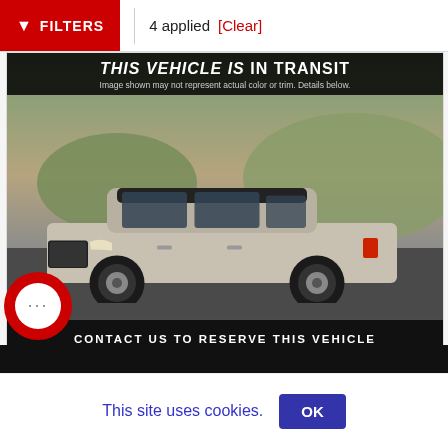FILTERS  4 applied  [Clear]
[Figure (photo): Toyota RAV4 Hybrid XSE SUV in silver/grey, shown on a road with hills in background. Banner overlay reads 'THIS VEHICLE IS IN TRANSIT' with subtitle 'Image shown may not represent actual color or trim. Details below.' Bottom bar reads 'CONTACT US TO RESERVE THIS VEHICLE'.]
2 Toyota RAV4 Hybrid XSE
fredericksburg, VA, XSE, AWD
This site uses cookies.